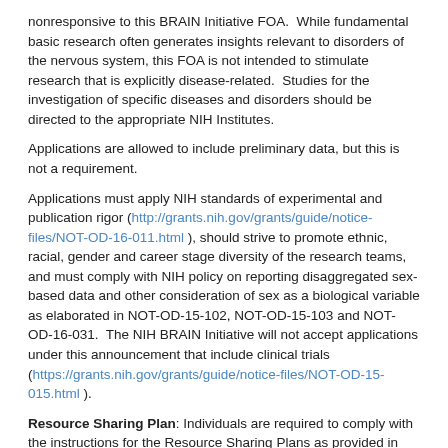nonresponsive to this BRAIN Initiative FOA.  While fundamental basic research often generates insights relevant to disorders of the nervous system, this FOA is not intended to stimulate research that is explicitly disease-related.  Studies for the investigation of specific diseases and disorders should be directed to the appropriate NIH Institutes.
Applications are allowed to include preliminary data, but this is not a requirement.
Applications must apply NIH standards of experimental and publication rigor (http://grants.nih.gov/grants/guide/notice-files/NOT-OD-16-011.html ), should strive to promote ethnic, racial, gender and career stage diversity of the research teams, and must comply with NIH policy on reporting disaggregated sex-based data and other consideration of sex as a biological variable as elaborated in NOT-OD-15-102, NOT-OD-15-103 and NOT-OD-16-031.  The NIH BRAIN Initiative will not accept applications under this announcement that include clinical trials (https://grants.nih.gov/grants/guide/notice-files/NOT-OD-15-015.html ).
Resource Sharing Plan: Individuals are required to comply with the instructions for the Resource Sharing Plans as provided in the SF424 (R&R) Application Guide,